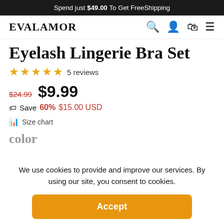Spend just $49.00 To Get FreeShipping
EVALAMOR
Eyelash Lingerie Bra Set
★★★★★ 5 reviews
$24.99  $9.99
Save 60% $15.00 USD
Size chart
color
We use cookies to provide and improve our services. By using our site, you consent to cookies.
Accept
Full read